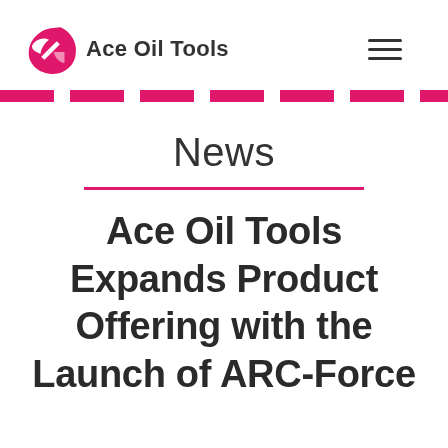Ace Oil Tools
News
Ace Oil Tools Expands Product Offering with the Launch of ARC-Force